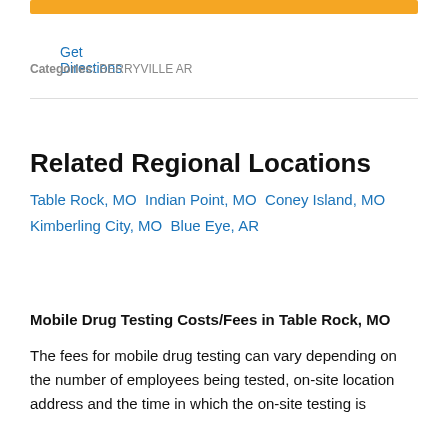[Figure (other): Orange button/bar at top of page]
Get Directions
Categories: BERRYVILLE AR
Related Regional Locations
Table Rock, MO Indian Point, MO Coney Island, MO Kimberling City, MO Blue Eye, AR
Mobile Drug Testing Costs/Fees in Table Rock, MO
The fees for mobile drug testing can vary depending on the number of employees being tested, on-site location address and the time in which the on-site testing is